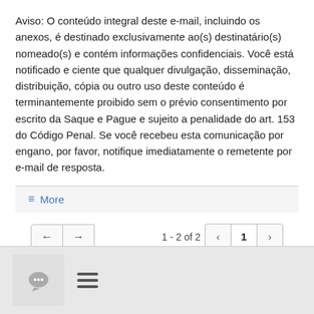Aviso: O conteúdo integral deste e-mail, incluindo os anexos, é destinado exclusivamente ao(s) destinatário(s) nomeado(s) e contém informações confidenciais. Você está notificado e ciente que qualquer divulgação, disseminação, distribuição, cópia ou outro uso deste conteúdo é terminantemente proibido sem o prévio consentimento por escrito da Saque e Pague e sujeito a penalidade do art. 153 do Código Penal. Se você recebeu esta comunicação por engano, por favor, notifique imediatamente o remetente por e-mail de resposta.
≡ More
1 - 2 of 2  [navigation controls]  1